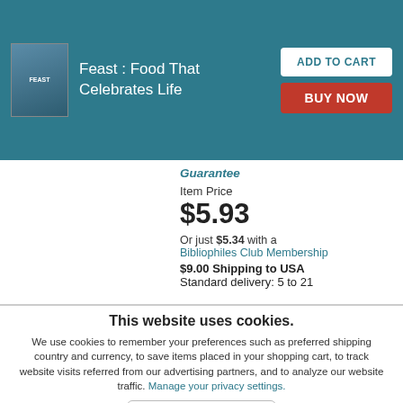[Figure (illustration): Book cover for 'Feast: Food That Celebrates Life' shown in top-left of header bar]
Feast : Food That Celebrates Life
ADD TO CART
BUY NOW
Guarantee
Item Price
$5.93
Or just $5.34 with a Bibliophiles Club Membership
$9.00 Shipping to USA Standard delivery: 5 to 21
This website uses cookies.
We use cookies to remember your preferences such as preferred shipping country and currency, to save items placed in your shopping cart, to track website visits referred from our advertising partners, and to analyze our website traffic. Manage your privacy settings.
AGREE AND CLOSE